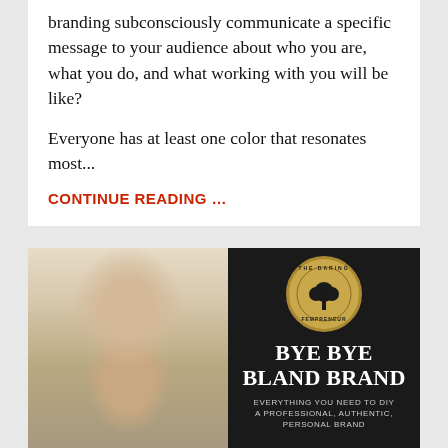branding subconsciously communicate a specific message to your audience about who you are, what you do, and what working with you will be like?
Everyone has at least one color that resonates most...
CONTINUE READING …
[Figure (photo): A woman with highlighted hair smiling, wearing a grey cowl-neck top, photographed in soft natural light. Next to her is a promotional book/course cover with gold and black design reading 'BYE BYE BLAND BRAND - EVERYTHING YOU NEED TO DIY A PROFESSIONAL, AUTHENTIC, PERSONAL BRAND' with 'The Daring Fempreneur' circular logo at the top.]